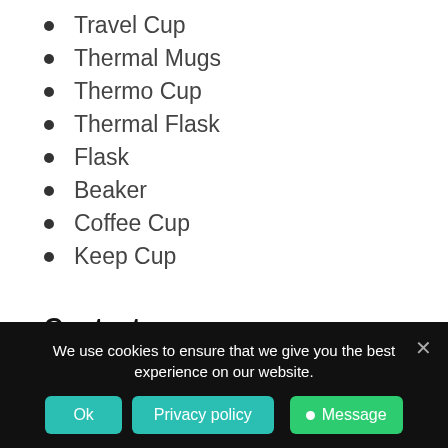Travel Cup
Thermal Mugs
Thermo Cup
Thermal Flask
Flask
Beaker
Coffee Cup
Keep Cup
Contact us.
If your team is looking for high volume bulk travel mugs, then please send in a special enquiry to the wholesale
We use cookies to ensure that we give you the best experience on our website.